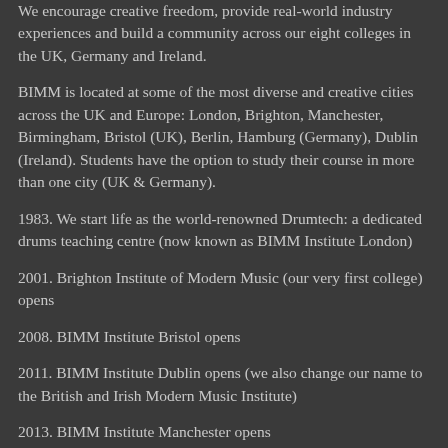We encourage creative freedom, provide real-world industry experiences and build a community across our eight colleges in the UK, Germany and Ireland.
BIMM is located at some of the most diverse and creative cities across the UK and Europe: London, Brighton, Manchester, Birmingham, Bristol (UK), Berlin, Hamburg (Germany), Dublin (Ireland). Students have the option to study their course in more than one city (UK & Germany).
1983. We start life as the world-renowned Drumtech: a dedicated drums teaching centre (now known as BIMM Institute London)
2001. Brighton Institute of Modern Music (our very first college) opens
2008. BIMM Institute Bristol opens
2011. BIMM Institute Dublin opens (we also change our name to the British and Irish Modern Music Institute)
2013. BIMM Institute Manchester opens